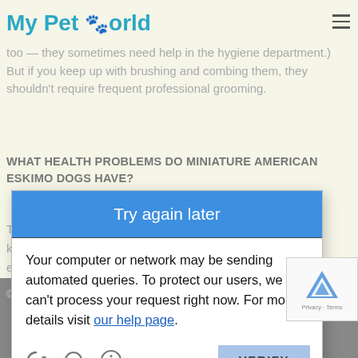My Pet 🐾 orld
should be brushed at least twice a week to keep their dense coats from matting. (Regularly check the fur around their tushes, too — they sometimes need help in the hygiene department.) But if you keep up with brushing and combing them, they shouldn't require frequent professional grooming.
WHAT HEALTH PROBLEMS DO MINIATURE AMERICAN ESKIMO DOGS HAVE?
These are ... or slipping k... Adult American... e as well.
[Figure (screenshot): Modal dialog overlay with 'Try again later' blue button and error message: 'Your computer or network may be sending automated queries. To protect our users, we can't process your request right now. For more details visit our help page.' with Verify button and icons.]
© 20... d by: